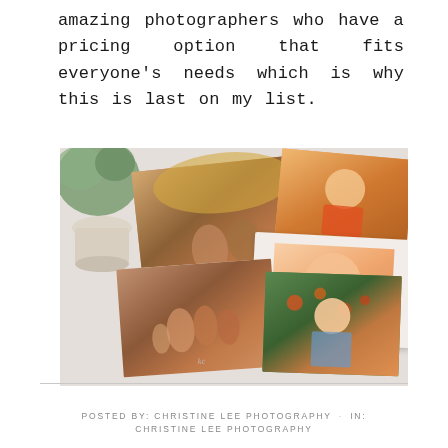amazing photographers who have a pricing option that fits everyone's needs which is why this is last on my list.
[Figure (photo): A flat-lay photo showing several printed photographs scattered on a white surface, including family photos, a child portrait, a photo album, and a portrait of a young woman in front of flowers. A green plant in a white pot is visible in the top-left corner.]
POSTED BY: CHRISTINE LEE PHOTOGRAPHY · IN: CHRISTINE LEE PHOTOGRAPHY